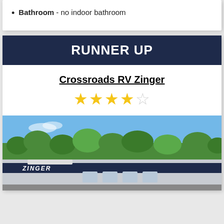Bathroom - no indoor bathroom
RUNNER UP
Crossroads RV Zinger
4 out of 5 stars rating
[Figure (photo): Exterior photo of a Crossroads RV Zinger trailer parked outdoors with blue sky and trees in the background]